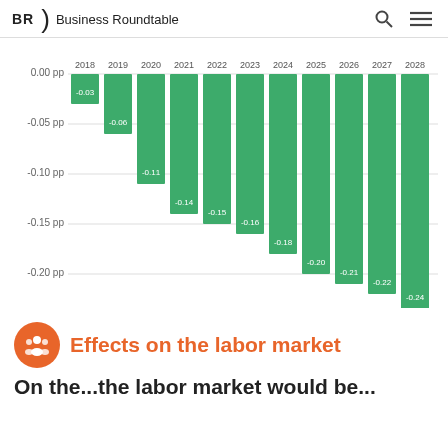BR Business Roundtable
[Figure (bar-chart): ]
Effects on the labor market
On the...the labor market would be...